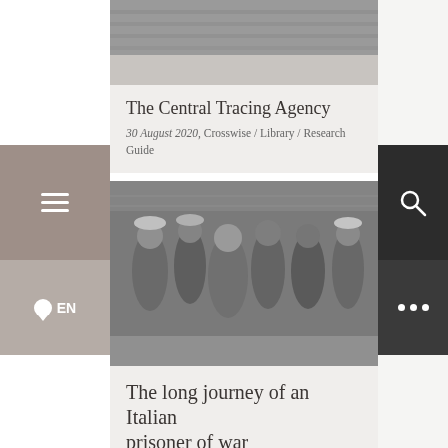[Figure (photo): Black and white archival photo showing filing/index card cabinets — top portion of image visible]
The Central Tracing Agency
30 August 2020, Crosswise / Library / Research Guide
[Figure (photo): Black and white photograph of a group of men, several shaking hands, outdoors with a fence or barrier in the background — Italian prisoner of war scene]
The long journey of an Italian prisoner of war
30 April 2020, Agency Archives / Archives / Portrait